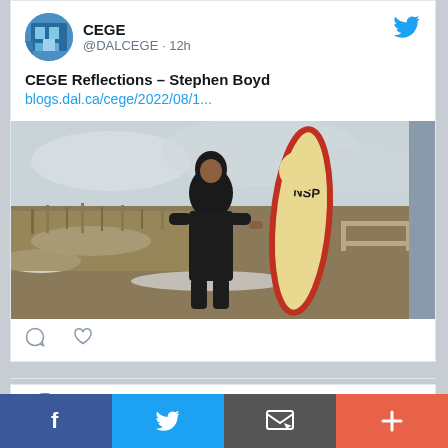CEGE @DALCEGE · 12h
CEGE Reflections – Stephen Boyd
blogs.dal.ca/cege/2022/08/1...
[Figure (photo): Person in black wetsuit and hood holding a yellow surfboard with NSP branding, standing outdoors in a wintry coastal setting]
CEGE